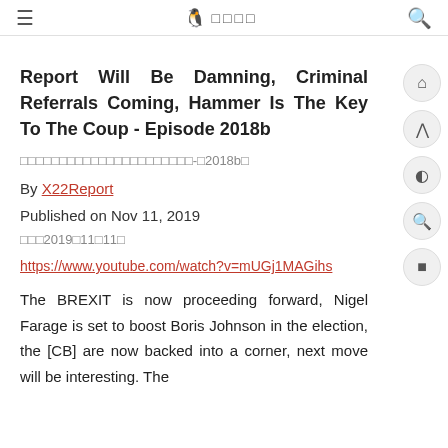≡  🐦 □□□□  🔍
Report Will Be Damning, Criminal Referrals Coming, Hammer Is The Key To The Coup - Episode 2018b
□□□□□□□□□□□□□□□□□□□□□□□-□2018b□
By X22Report
Published on Nov 11, 2019
□□□2019□11□11□
https://www.youtube.com/watch?v=mUGj1MAGihs
The BREXIT is now proceeding forward, Nigel Farage is set to boost Boris Johnson in the election, the [CB] are now backed into a corner, next move will be interesting. The